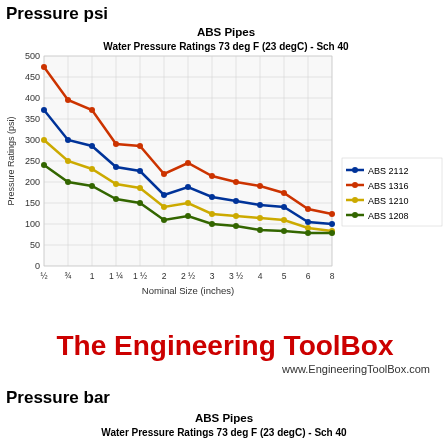Pressure psi
[Figure (line-chart): ABS Pipes
Water Pressure Ratings 73 deg F (23 degC) - Sch 40]
The Engineering ToolBox
www.EngineeringToolBox.com
Pressure bar
ABS Pipes
Water Pressure Ratings 73 deg F (23 degC)  - Sch 40